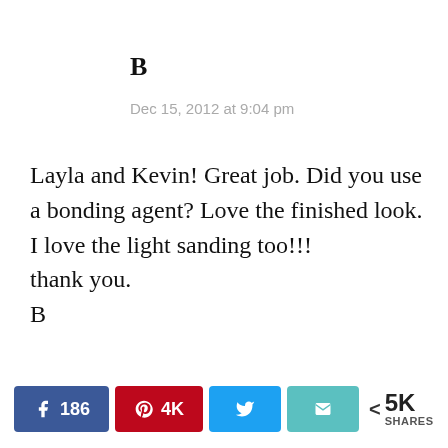B
Dec 15, 2012 at 9:04 pm
Layla and Kevin! Great job. Did you use a bonding agent? Love the finished look. I love the light sanding too!!!
thank you.
B
Facebook 186 | Pinterest 4K | Twitter | Email | < 5K SHARES